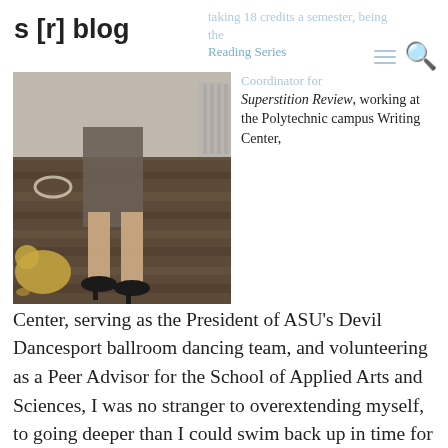s [r] blog
[Figure (photo): Photo of a person's legs and feet wearing black heels, standing on a wooden deck or floor. There is a dog or animal visible at lower left.]
taking 18 credits a semester, being the Reading Series Coordinator for Superstition Review, working at the Polytechnic campus Writing Center, serving as the President of ASU's Devil Dancesport ballroom dancing team, and volunteering as a Peer Advisor for the School of Applied Arts and Sciences, I was no stranger to overextending myself, to going deeper than I could swim back up in time for air.  When I graduated in 2009, I made a strategic career move and took a job in Japan teaching English in two high schools. It was only strategic because I couldn't even get anything close to a job in the United States. Luckily for me, this